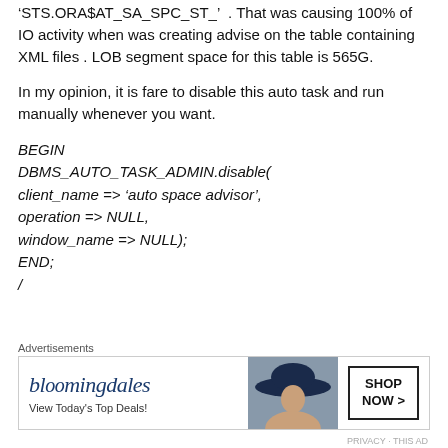'STS.ORA$AT_SA_SPC_ST_' . That was causing 100% of IO activity when was creating advise on the table containing XML files . LOB segment space for this table is 565G.
In my opinion, it is fare to disable this auto task and run manually whenever you want.
BEGIN
DBMS_AUTO_TASK_ADMIN.disable(
client_name => 'auto space advisor',
operation => NULL,
window_name => NULL);
END;
/
[Figure (other): Bloomingdale's advertisement banner with logo, 'View Today's Top Deals!' tagline, woman with hat image, and 'SHOP NOW >' button]